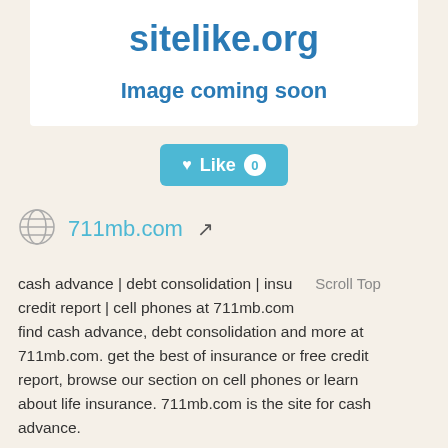sitelike.org
Image coming soon
[Figure (other): Like button with count 0]
711mb.com
cash advance | debt consolidation | insu credit report | cell phones at 711mb.com find cash advance, debt consolidation and more at 711mb.com. get the best of insurance or free credit report, browse our section on cell phones or learn about life insurance. 711mb.com is the site for cash advance.
Scroll Top